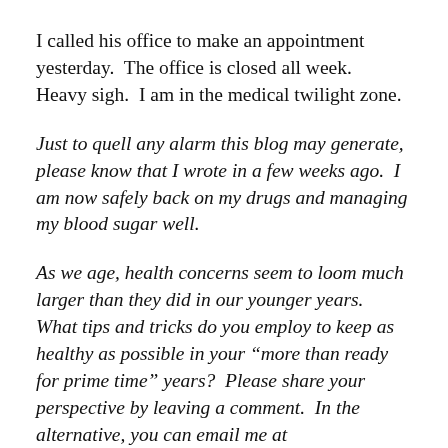I called his office to make an appointment yesterday.  The office is closed all week.  Heavy sigh.  I am in the medical twilight zone.
Just to quell any alarm this blog may generate, please know that I wrote in a few weeks ago.  I am now safely back on my drugs and managing my blood sugar well.
As we age, health concerns seem to loom much larger than they did in our younger years.  What tips and tricks do you employ to keep as healthy as possible in your “more than ready for prime time” years?  Please share your perspective by leaving a comment.  In the alternative, you can email me at